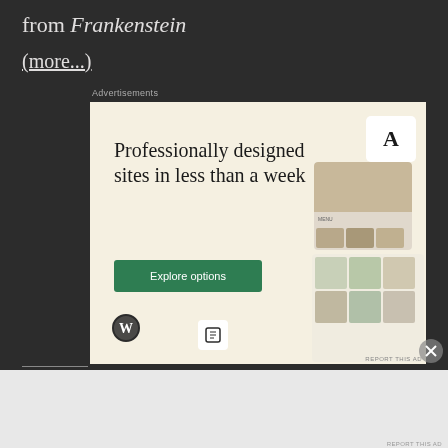from Frankenstein
(more...)
Advertisements
[Figure (screenshot): WordPress advertisement: 'Professionally designed sites in less than a week' with an Explore options button, WordPress logo, and mock website screenshots on a cream background.]
REPORT THIS AD
Advertisements
[Figure (infographic): WordPress advertisement: 'Launch your online course with WordPress' with a Learn More button on a dark navy background.]